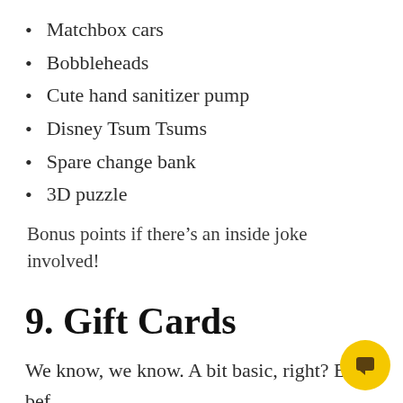Matchbox cars
Bobbleheads
Cute hand sanitizer pump
Disney Tsum Tsums
Spare change bank
3D puzzle
Bonus points if there’s an inside joke involved!
9. Gift Cards
We know, we know. A bit basic, right? But before you scroll to the next item, hear us out.